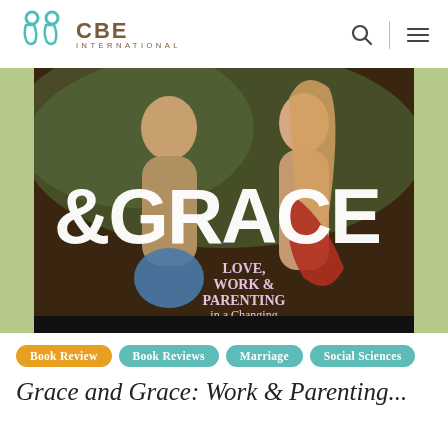[Figure (logo): CBE International logo with teal infinity/person symbols and brown CBE INTERNATIONAL text]
[Figure (photo): Book cover of '&Grace: Love, Work & Parenting in a Changing World' showing two figures (man and woman) in an artistic painted style with large white text '&GRACE' and subtitle text]
Book Review
Book Reviews
Marriage
Social Sciences
Grace and Grace: Love, Work & Parenting...